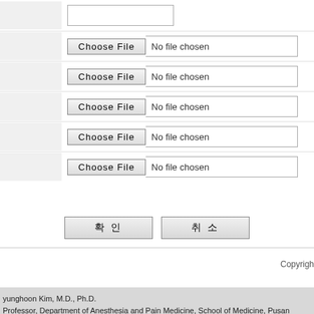[Figure (screenshot): Web form with a text input field and five file upload fields each showing 'Choose File' button and 'No file chosen' text]
확 인   취 소
yunghoon Kim, M.D., Ph.D.
Professor, Department of Anesthesia and Pain Medicine, School of Medicine, Pusan National University
Mulgeumup, Yangsan 626-770, Korea
Tel) 82-55-360-1422 / (Fax)+82-55-360-2149 / pain@pusan.ac.kr
Copyright (c)2005 PAINKOREA ;All right reserved